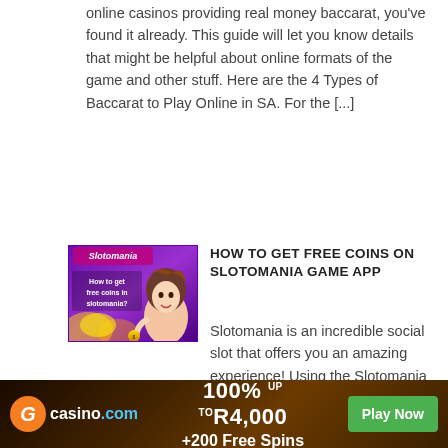online casinos providing real money baccarat, you've found it already. This guide will let you know details that might be helpful about online formats of the game and other stuff. Here are the 4 Types of Baccarat to Play Online in SA. For the [...]
[Figure (photo): Thumbnail image for Slotomania article showing a cartoon woman with brown hair against a purple slot machine background, with text 'How to get free coins in slotomania?']
HOW TO GET FREE COINS ON SLOTOMANIA GAME APP
Slotomania is an incredible social slot that offers you an amazing experience! Using the Slotomania game app you not only can play over 140 slots, but you can also got
[Figure (infographic): Casino.com advertisement banner: orange logo circle with G, casino.com text, 100% up to R4,000 +200 Free Spins, Play Now green button]